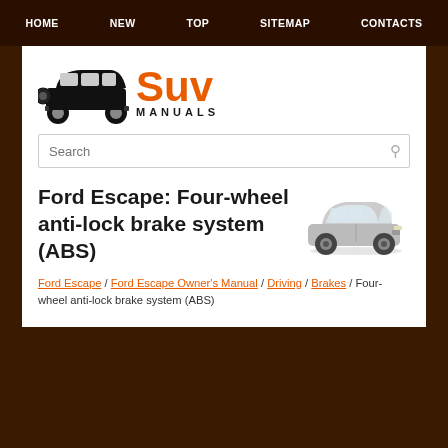HOME  NEW  TOP  SITEMAP  CONTACTS
[Figure (logo): SUV Manuals logo with black SUV silhouette and orange 'Suv' text with 'MANUALS' underneath]
Ford Escape: Four-wheel anti-lock brake system (ABS)
[Figure (photo): Silver Ford Escape SUV side/front view photo]
Ford Escape / Ford Escape Owner's Manual / Driving / Brakes / Four-wheel anti-lock brake system (ABS)